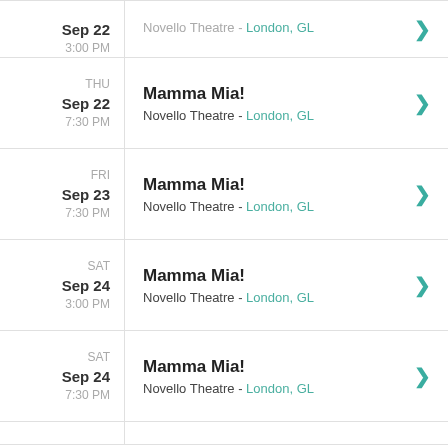Sep 22 3:00 PM — Mamma Mia! — Novello Theatre - London, GL
THU Sep 22 7:30 PM — Mamma Mia! — Novello Theatre - London, GL
FRI Sep 23 7:30 PM — Mamma Mia! — Novello Theatre - London, GL
SAT Sep 24 3:00 PM — Mamma Mia! — Novello Theatre - London, GL
SAT Sep 24 7:30 PM — Mamma Mia! — Novello Theatre - London, GL
(partial row at bottom)